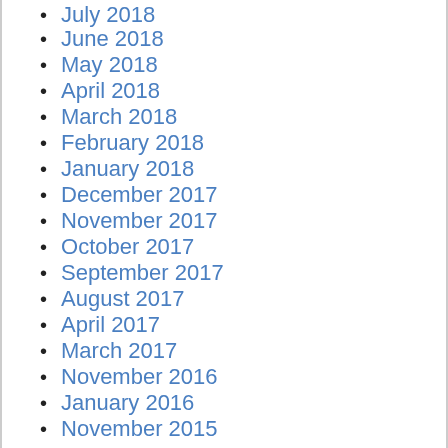July 2018
June 2018
May 2018
April 2018
March 2018
February 2018
January 2018
December 2017
November 2017
October 2017
September 2017
August 2017
April 2017
March 2017
November 2016
January 2016
November 2015
June 2015
April 2015